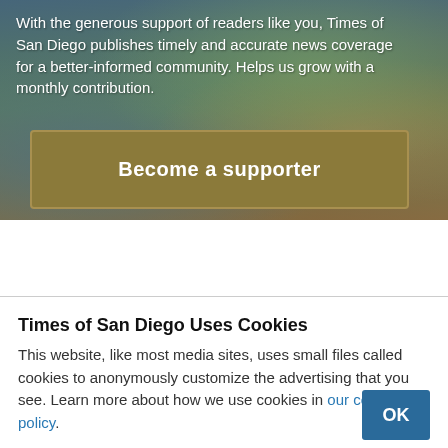[Figure (photo): Aerial coastal landscape photo with cliffs and ocean, overlaid with white text and a gold 'Become a supporter' button]
With the generous support of readers like you, Times of San Diego publishes timely and accurate news coverage for a better-informed community. Helps us grow with a monthly contribution.
Become a supporter
Times of San Diego Uses Cookies
This website, like most media sites, uses small files called cookies to anonymously customize the advertising that you see. Learn more about how we use cookies in our cookie policy.
OK